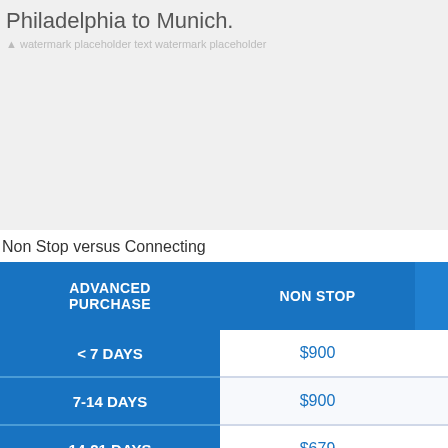Philadelphia to Munich.
Non Stop versus Connecting
| ADVANCED PURCHASE | NON STOP | CONNECTING |
| --- | --- | --- |
| < 7 DAYS | $900 | $1,501 |
| 7-14 DAYS | $900 | $1,501 |
| 14-21 DAYS | $679 | $847 |
| 21-30 DAYS | $588 | $1,758 |
| 30-60 DAYS | $545 | $782 |
| 60-90 DAYS | $548 | $1,500 |